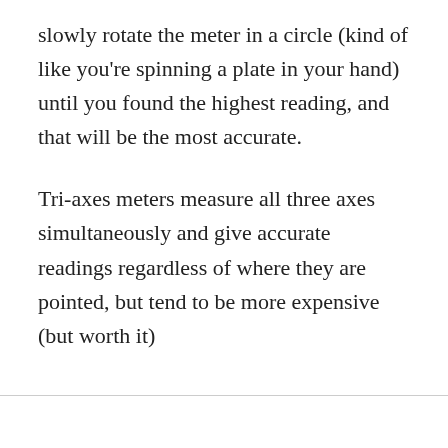slowly rotate the meter in a circle (kind of like you're spinning a plate in your hand) until you found the highest reading, and that will be the most accurate.
Tri-axes meters measure all three axes simultaneously and give accurate readings regardless of where they are pointed, but tend to be more expensive (but worth it)